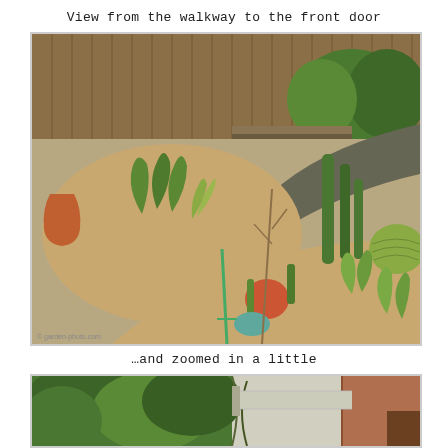View from the walkway to the front door
[Figure (photo): Photograph of a desert/xeriscape front yard garden with gravel mulch, various cacti, succulents, agaves, and other drought-tolerant plants arranged in curved planting beds separated by a dark gravel walkway. A wooden fence is visible in the background with additional greenery.]
…and zoomed in a little
[Figure (photo): Partially visible zoomed-in photograph of a lush green garden area near a front door, showing dense foliage and a wooden structure on the right side.]